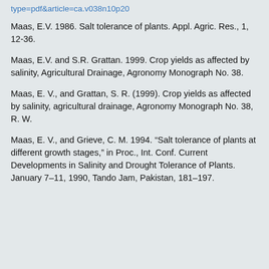type=pdf&article=ca.v038n10p20
Maas, E.V. 1986. Salt tolerance of plants. Appl. Agric. Res., 1, 12-36.
Maas, E.V. and S.R. Grattan. 1999. Crop yields as affected by salinity, Agricultural Drainage, Agronomy Monograph No. 38.
Maas, E. V., and Grattan, S. R. (1999). Crop yields as affected by salinity, agricultural drainage, Agronomy Monograph No. 38, R. W.
Maas, E. V., and Grieve, C. M. 1994. “Salt tolerance of plants at different growth stages,” in Proc., Int. Conf. Current Developments in Salinity and Drought Tolerance of Plants. January 7–11, 1990, Tando Jam, Pakistan, 181–197.